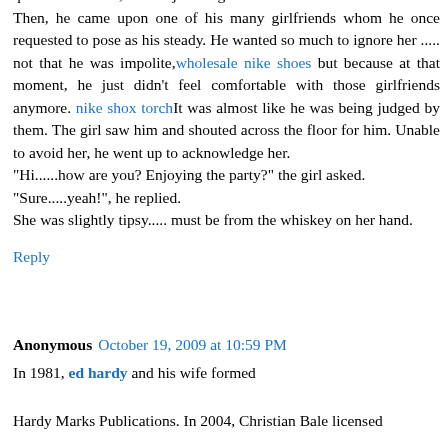friend. nike air max He felt warm and comforted by his friend's queries about her, still he just surged on. Then, he came upon one of his many girlfriends whom he once requested to pose as his steady. He wanted so much to ignore her ..... not that he was impolite, wholesale nike shoes but because at that moment, he just didn't feel comfortable with those girlfriends anymore. nike shox torchIt was almost like he was being judged by them. The girl saw him and shouted across the floor for him. Unable to avoid her, he went up to acknowledge her. "Hi......how are you? Enjoying the party?" the girl asked. "Sure.....yeah!", he replied. She was slightly tipsy..... must be from the whiskey on her hand.
Reply
Anonymous October 19, 2009 at 10:59 PM
In 1981, ed hardy and his wife formed
Hardy Marks Publications. In 2004, Christian Bale licensed